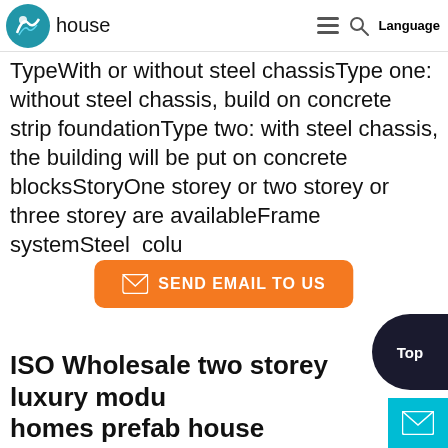house TypeWith or without steel chassis Language
TypeWith or without steel chassisType one: without steel chassis, build on concrete strip foundationType two: with steel chassis, the building will be put on concrete blocksStoryOne storey or two storey or three storey are availableFrame systemSteel  colu
[Figure (other): Orange button with envelope icon and text 'SEND EMAIL TO US']
ISO Wholesale two storey luxury modu homes prefab house